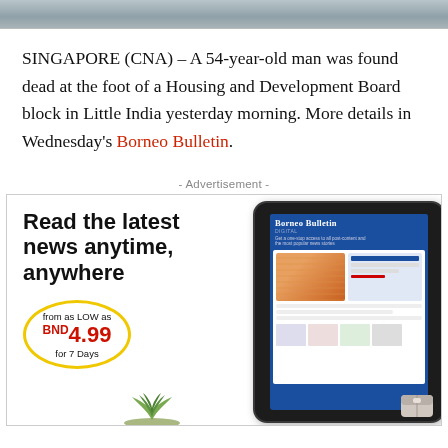[Figure (photo): Partial photo strip at top of page showing outdoor scene]
SINGAPORE (CNA) – A 54-year-old man was found dead at the foot of a Housing and Development Board block in Little India yesterday morning. More details in Wednesday's Borneo Bulletin.
- Advertisement -
[Figure (other): Advertisement for Borneo Bulletin Digital subscription. Text reads: Read the latest news anytime, anywhere. From as LOW as BND 4.99 for 7 Days. Shows tablet device with Borneo Bulletin Digital displayed.]